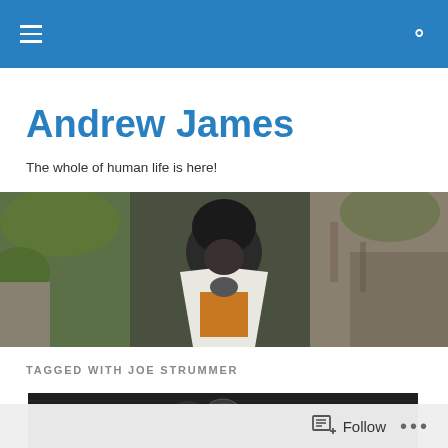Andrew James — navigation bar with menu and search
Andrew James
The whole of human life is here!
[Figure (photo): A person in medieval-style costume with helmet and white cape standing in front of rocky terrain]
TAGGED WITH JOE STRUMMER
[Figure (photo): Close-up black and white photo, partially visible person in dark clothing]
Follow  •••